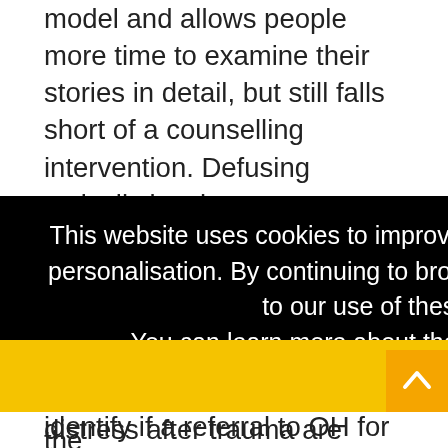model and allows people more time to examine their stories in detail, but still falls short of a counselling intervention. Defusing typically involves a one-to-one session between an individual and their manager, working with a risk assessment checklist to enable the line manager to identify if a referral to OH for a medical or psychological intervention is appropriate. “Most
[Figure (other): Cookie consent overlay with black background. Text reads: 'This website uses cookies to improve your experience and for ads personalisation. By continuing to browse this site you are agreeing to our use of these cookies. You can learn more about the cookies we use here.' Below is a yellow OK button bar.]
itself – people experiencing distress after trauma are